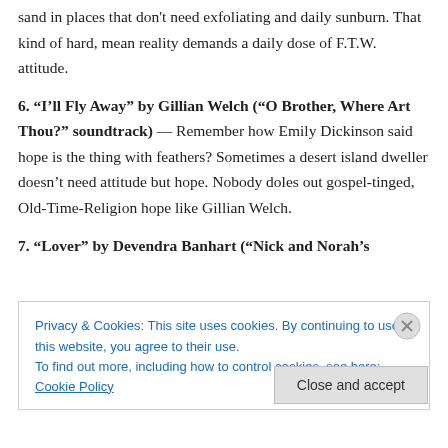sand in places that don't need exfoliating and daily sunburn. That kind of hard, mean reality demands a daily dose of F.T.W. attitude.
6. “I’ll Fly Away” by Gillian Welch (“O Brother, Where Art Thou?” soundtrack) — Remember how Emily Dickinson said hope is the thing with feathers? Sometimes a desert island dweller doesn’t need attitude but hope. Nobody doles out gospel-tinged, Old-Time-Religion hope like Gillian Welch.
7. “Lover” by Devendra Banhart (“Nick and Norah’s
Privacy & Cookies: This site uses cookies. By continuing to use this website, you agree to their use.
To find out more, including how to control cookies, see here: Cookie Policy